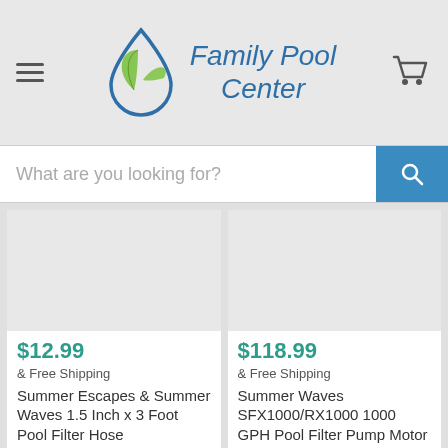[Figure (logo): Family Pool Center logo with water drop and green leaves SVG icon, teal/blue text]
What are you looking for?
[Figure (photo): Product image placeholder (light gray rectangle) for Summer Escapes & Summer Waves 1.5 Inch x 3 Foot Pool Filter Hose]
$12.99
& Free Shipping
Summer Escapes & Summer Waves 1.5 Inch x 3 Foot Pool Filter Hose
[Figure (photo): Product image placeholder (light gray rectangle) for Summer Waves SFX1000/RX1000 1000 GPH Pool Filter Pump Motor]
$118.99
& Free Shipping
Summer Waves SFX1000/RX1000 1000 GPH Pool Filter Pump Motor